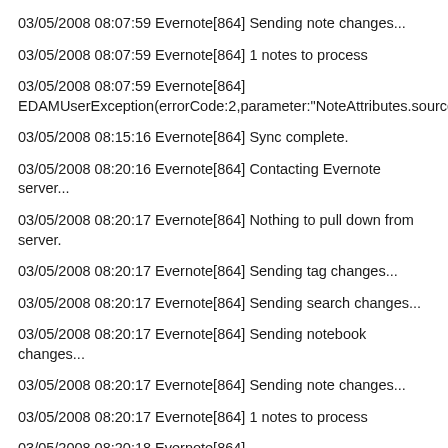03/05/2008 08:07:59 Evernote[864] Sending note changes...
03/05/2008 08:07:59 Evernote[864] 1 notes to process
03/05/2008 08:07:59 Evernote[864] EDAMUserException(errorCode:2,parameter:"NoteAttributes.sourceURL")
03/05/2008 08:15:16 Evernote[864] Sync complete.
03/05/2008 08:20:16 Evernote[864] Contacting Evernote server...
03/05/2008 08:20:17 Evernote[864] Nothing to pull down from server.
03/05/2008 08:20:17 Evernote[864] Sending tag changes...
03/05/2008 08:20:17 Evernote[864] Sending search changes...
03/05/2008 08:20:17 Evernote[864] Sending notebook changes...
03/05/2008 08:20:17 Evernote[864] Sending note changes...
03/05/2008 08:20:17 Evernote[864] 1 notes to process
03/05/2008 08:20:18 Evernote[864] EDAMUserException(errorCode:2,parameter:"NoteAttributes.sourceURL")
03/05/2008 08:21:23 FileSync App[26] LOCK (FileSync (FAILED)